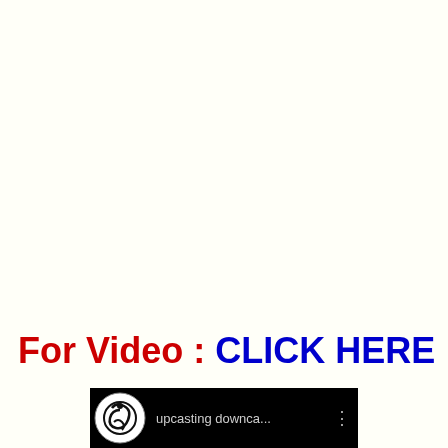For Video : CLICK HERE
[Figure (screenshot): Video thumbnail showing a circular logo with a stylized figure and the text 'upcasting downca...' on a dark background, with a three-dot menu icon on the right.]